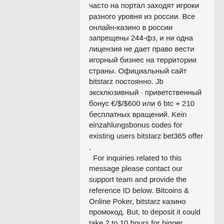часто на портал заходят игроки разного уровня из россии. Все онлайн-казино в россии запрещены 244-фз, и ни одна лицензия не дает право вести игорный бизнес на территории страны. Официальный сайт bitstarz постоянно. Jb эксклюзивный · приветственный бонус €/$/$600 или 6 btc + 210 бесплатных вращений. Kein einzahlungsbonus codes for existing users bitstarz bet365 offer ,  For inquiries related to this message please contact our support team and provide the reference ID below. Bitcoins & Online Poker, bitstarz казино промокод. But, to deposit it could take 2 to 10 hours for bigger quantities or cash bitcoin trade out, bitstarz казино зеркало. Generally, these tractions appear in pending status for a definite interval before they can be cleared; and, the transactions' status alters once they have been cleared. If you want to cash out with Bitcoin, you'll be